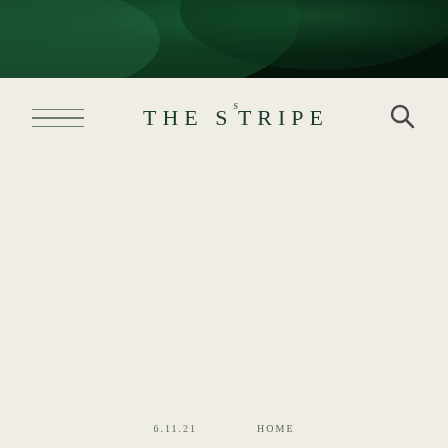[Figure (photo): Dark green textured background image, appears to be a botanical or nature photograph, occupying the top banner area]
THE STRIPE
6.11.21   HOME